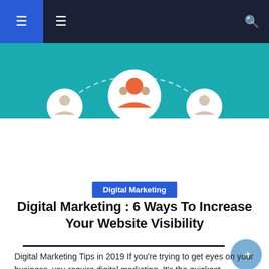Navigation bar with menu icons and search
[Figure (illustration): Teal banner with illustrated figures: a central orange person icon with two smaller tan person icons on either side, connected by dashed arcs, on a teal background]
Digital Marketing
Digital Marketing : 6 Ways To Increase Your Website Visibility
Digital Marketing Tips in 2019 If you're trying to get eyes on your business, you require digital marketing. It's the quickest